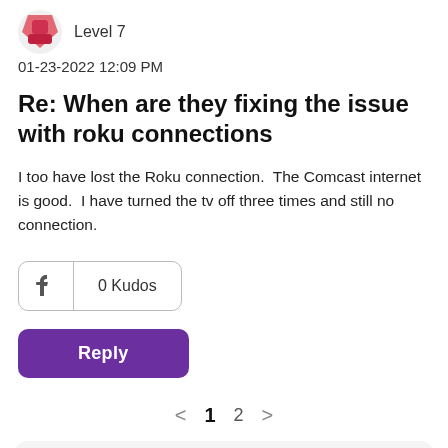[Figure (illustration): Partial avatar icon showing a red/pink figure, Level 7 badge text]
01-23-2022 12:09 PM
Re: When are they fixing the issue with roku connections
I too have lost the Roku connection.  The Comcast internet is good.  I have turned the tv off three times and still no connection.
[Figure (other): 0 Kudos button with thumbs up icon]
[Figure (other): Reply button (purple)]
< 1 2 >
Trending Discussions